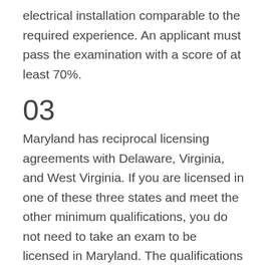electrical installation comparable to the required experience. An applicant must pass the examination with a score of at least 70%.
03
Maryland has reciprocal licensing agreements with Delaware, Virginia, and West Virginia. If you are licensed in one of these three states and meet the other minimum qualifications, you do not need to take an exam to be licensed in Maryland. The qualifications to obtain a reciprocal license in Maryland are found. (Click here for more information)
04
Complete the exam application, including personal